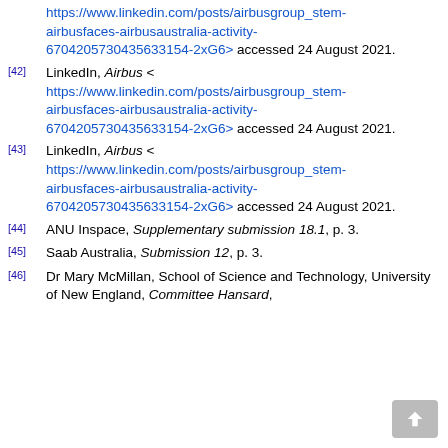LinkedIn, Airbus < https://www.linkedin.com/posts/airbusgroup_stem-airbusfaces-airbusaustralia-activity-6704205730435633154-2xG6> accessed 24 August 2021.
[42] LinkedIn, Airbus < https://www.linkedin.com/posts/airbusgroup_stem-airbusfaces-airbusaustralia-activity-6704205730435633154-2xG6> accessed 24 August 2021.
[43] LinkedIn, Airbus < https://www.linkedin.com/posts/airbusgroup_stem-airbusfaces-airbusaustralia-activity-6704205730435633154-2xG6> accessed 24 August 2021.
[44] ANU Inspace, Supplementary submission 18.1, p. 3.
[45] Saab Australia, Submission 12, p. 3.
[46] Dr Mary McMillan, School of Science and Technology, University of New England, Committee Hansard, [date]